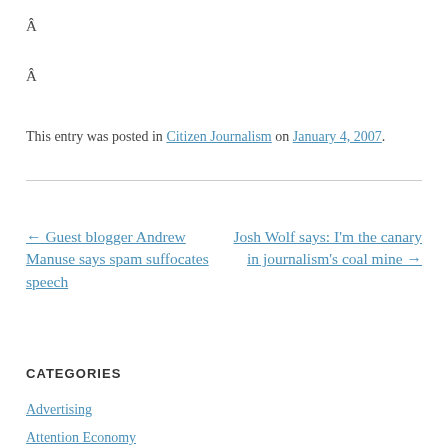Â
Â
This entry was posted in Citizen Journalism on January 4, 2007.
← Guest blogger Andrew Manuse says spam suffocates speech
Josh Wolf says: I'm the canary in journalism's coal mine →
CATEGORIES
Advertising
Attention Economy